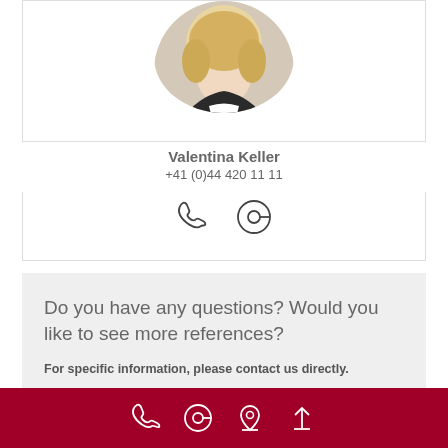[Figure (photo): Circular portrait photo of Valentina Keller, a woman with blonde hair wearing a dark jacket]
Valentina Keller
+41 (0)44 420 11 11
[Figure (illustration): Phone icon and email/at-sign icon in dark outline style]
Do you have any questions? Would you like to see more references?
For specific information, please contact us directly.
CONTACT FORM
[Figure (illustration): Footer bar with white outline icons: phone, at-sign, location pin, and up-arrow]